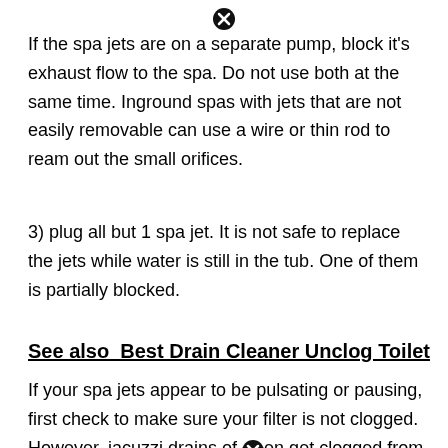If the spa jets are on a separate pump, block it's exhaust flow to the spa. Do not use both at the same time. Inground spas with jets that are not easily removable can use a wire or thin rod to ream out the small orifices.
3) plug all but 1 spa jet. It is not safe to replace the jets while water is still in the tub. One of them is partially blocked.
See also  Best Drain Cleaner Unclog Toilet
If your spa jets appear to be pulsating or pausing, first check to make sure your filter is not clogged. However, jacuzzi drains often get clogged from